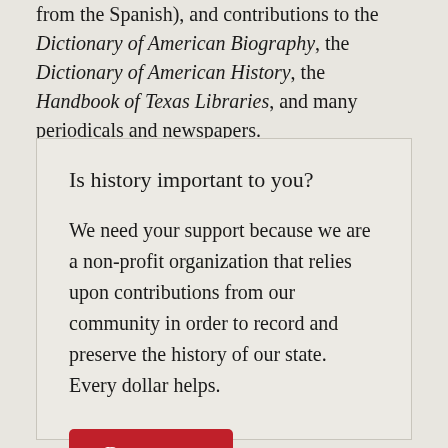from the Spanish), and contributions to the Dictionary of American Biography, the Dictionary of American History, the Handbook of Texas Libraries, and many periodicals and newspapers.
Is history important to you?
We need your support because we are a non-profit organization that relies upon contributions from our community in order to record and preserve the history of our state. Every dollar helps.
Donate now